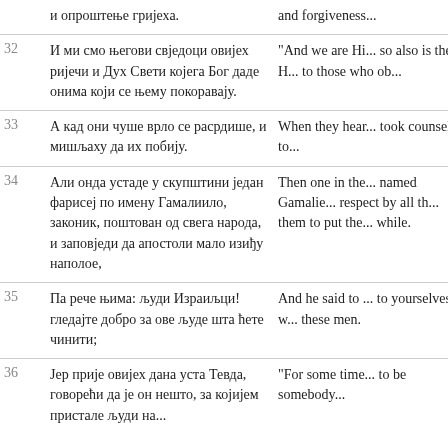| # | Serbian | English |
| --- | --- | --- |
|  | и опроштење гријеха. | and forgiveness... |
| 32 | И ми смо његови свједоци овијех ријечи и Дух Свети којега Бог даде онима који се њему покоравају. | "And we are Hi... so also is the H... to those who ob... |
| 33 | А кад они чуше врло се расрдише, и мишљаху да их побију. | When they hear... took counsel to... |
| 34 | Али онда устаде у скупштини један фарисеј по имену Гамалиило, законик, поштован од свега народа, и заповједи да апостоли мало изиђу наполое, | Then one in the... named Gamalie... respect by all th... them to put the... while. |
| 35 | Па рече њима: људи Израиљци! гледајте добро за ове људе шта ћете чинити; | And he said to ... to yourselves w... these men. |
| 36 | Јер прије овијех дана уста Тевда, говорећи да је он нешто, за којијем пристале људи на... | "For some time... to be somebody... |